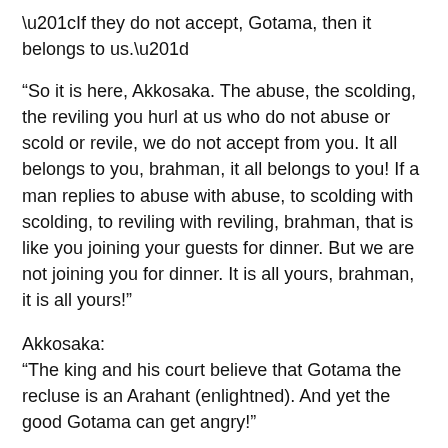“If they do not accept, Gotama, then it belongs to us.”
“So it is here, Akkosaka. The abuse, the scolding, the reviling you hurl at us who do not abuse or scold or revile, we do not accept from you. It all belongs to you, brahman, it all belongs to you! If a man replies to abuse with abuse, to scolding with scolding, to reviling with reviling, brahman, that is like you joining your guests for dinner. But we are not joining you for dinner. It is all yours, brahman, it is all yours!”
Akkosaka:
“The king and his court believe that Gotama the recluse is an Arahant (enlightned). And yet the good Gotama can get angry!”
[The Blessed One said in verse:]
How could anger rise in him who is free,
Wrathless, all his passions tamed, at peace,